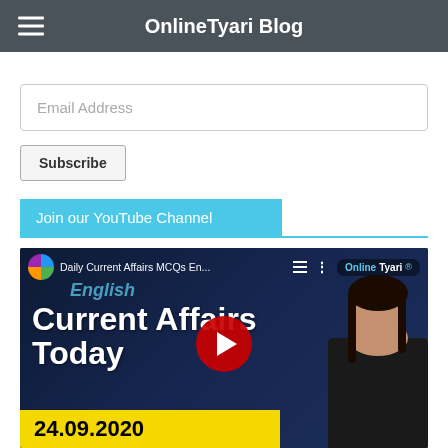OnlineTyari Blog
Email Address
Subscribe
Join our YouTube Channel
[Figure (screenshot): YouTube video thumbnail for 'Daily Current Affairs MCQs En...' showing 'Current Affairs Today 24.09.2020' with a woman presenter and red play button on dark blue background]